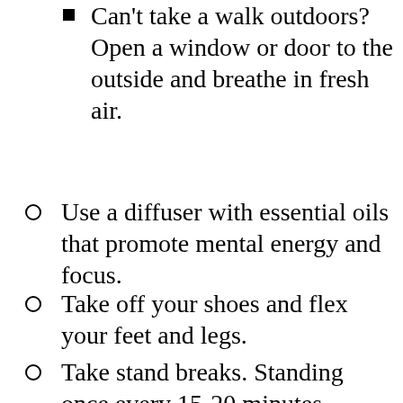Can't take a walk outdoors? Open a window or door to the outside and breathe in fresh air.
Use a diffuser with essential oils that promote mental energy and focus.
Take off your shoes and flex your feet and legs.
Take stand breaks. Standing once every 15-20 minutes